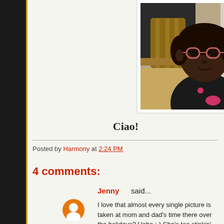[Figure (photo): A young child wearing pink glasses and a dark knit sweater, sitting at a table with wooden chairs and a dark leather couch in the background.]
Ciao!
Posted by Harmony at 2:24 PM
4 comments:
Jenny said...
I love that almost every single picture is taken at mom and dad's time there over the holidays? Hehe :-) She's too stinkin' cute. Lo